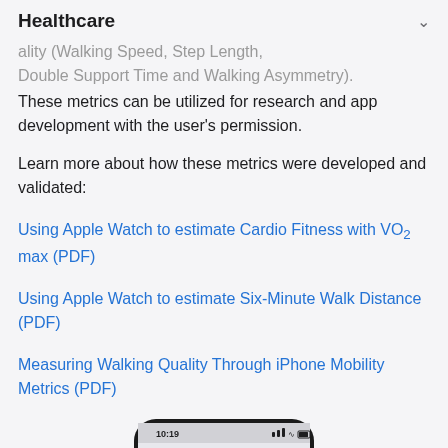Healthcare
ality (Walking Speed, Step Length, Double Support Time and Walking Asymmetry). These metrics can be utilized for research and app development with the user's permission.
Learn more about how these metrics were developed and validated:
Using Apple Watch to estimate Cardio Fitness with VO₂ max (PDF)
Using Apple Watch to estimate Six-Minute Walk Distance (PDF)
Measuring Walking Quality Through iPhone Mobility Metrics (PDF)
[Figure (photo): Bottom portion of an iPhone mockup showing the top of the device screen]